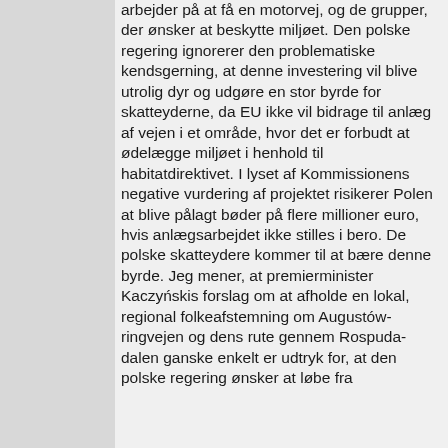arbejder på at få en motorvej, og de grupper, der ønsker at beskytte miljøet. Den polske regering ignorerer den problematiske kendsgerning, at denne investering vil blive utrolig dyr og udgøre en stor byrde for skatteyderne, da EU ikke vil bidrage til anlæg af vejen i et område, hvor det er forbudt at ødelægge miljøet i henhold til habitatdirektivet. I lyset af Kommissionens negative vurdering af projektet risikerer Polen at blive pålagt bøder på flere millioner euro, hvis anlægsarbejdet ikke stilles i bero. De polske skatteydere kommer til at bære denne byrde. Jeg mener, at premierminister Kaczyńskis forslag om at afholde en lokal, regional folkeafstemning om Augustów-ringvejen og dens rute gennem Rospuda-dalen ganske enkelt er udtryk for, at den polske regering ønsker at løbe fra